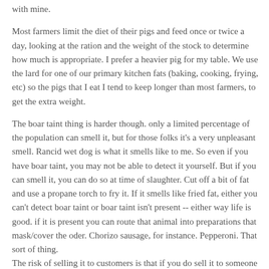with mine. Most farmers limit the diet of their pigs and feed once or twice a day, looking at the ration and the weight of the stock to determine how much is appropriate. I prefer a heavier pig for my table. We use the lard for one of our primary kitchen fats (baking, cooking, frying, etc) so the pigs that I eat I tend to keep longer than most farmers, to get the extra weight.
The boar taint thing is harder though. only a limited percentage of the population can smell it, but for those folks it's a very unpleasant smell. Rancid wet dog is what it smells like to me. So even if you have boar taint, you may not be able to detect it yourself. But if you can smell it, you can do so at time of slaughter. Cut off a bit of fat and use a propane torch to fry it. If it smells like fried fat, either you can't detect boar taint or boar taint isn't present -- either way life is good. if it is present you can route that animal into preparations that mask/cover the oder. Chorizo sausage, for instance. Pepperoni. That sort of thing. The risk of selling it to customers is that if you do sell it to someone who can smell it, they get an animal that they probably won't want to eat. But you won't know it until the entire process (farm kill, cut-and-wrap, delivery) is complete,